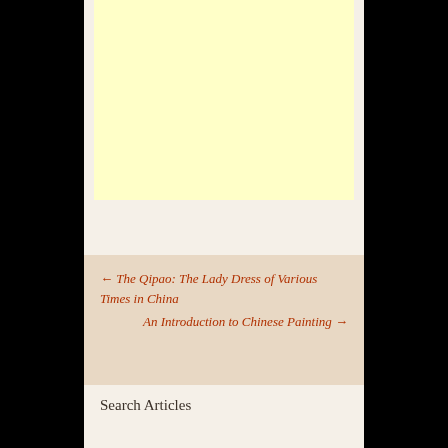[Figure (other): Light yellow advertisement block at top of page]
← The Qipao: The Lady Dress of Various Times in China
  An Introduction to Chinese Painting →